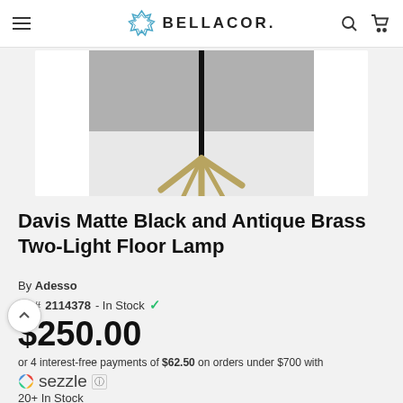BELLACOR
[Figure (photo): Floor lamp product photo showing Davis Matte Black and Antique Brass Two-Light Floor Lamp with a thin black pole and antique brass star-shaped base against a gray and white background]
Davis Matte Black and Antique Brass Two-Light Floor Lamp
By Adesso
BC# 2114378 - In Stock
$250.00
or 4 interest-free payments of $62.50 on orders under $700 with
sezzle
20+ In Stock
Est. delivery by Aug 30